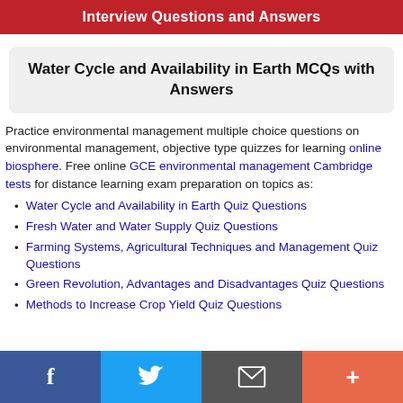Interview Questions and Answers
Water Cycle and Availability in Earth MCQs with Answers
Practice environmental management multiple choice questions on environmental management, objective type quizzes for learning online biosphere. Free online GCE environmental management Cambridge tests for distance learning exam preparation on topics as:
Water Cycle and Availability in Earth Quiz Questions
Fresh Water and Water Supply Quiz Questions
Farming Systems, Agricultural Techniques and Management Quiz Questions
Green Revolution, Advantages and Disadvantages Quiz Questions
Methods to Increase Crop Yield Quiz Questions
f  Twitter  Email  +